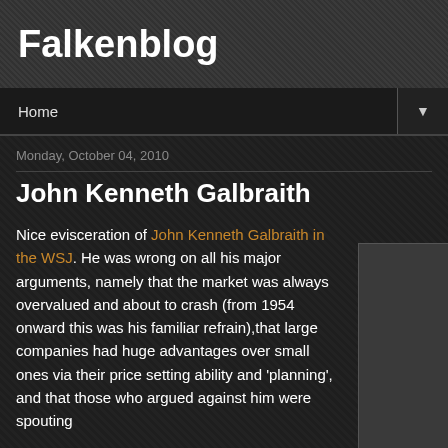Falkenblog
Home
Monday, October 04, 2010
John Kenneth Galbraith
Nice evisceration of John Kenneth Galbraith in the WSJ. He was wrong on all his major arguments, namely that the market was always overvalued and about to crash (from 1954 onward this was his familiar refrain),that large companies had huge advantages over small ones via their price setting ability and 'planning', and that those who argued against him were spouting
[Figure (photo): Dark placeholder image/photo box on the right side of the post]